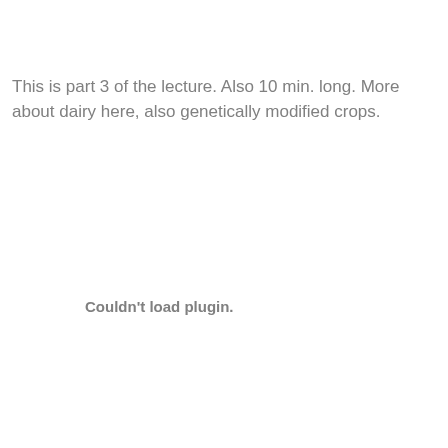This is part 3 of the lecture. Also 10 min. long. More about dairy here, also genetically modified crops.
Couldn't load plugin.